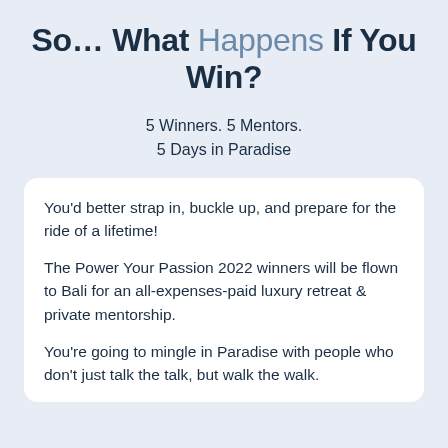So… What Happens If You Win?
5 Winners. 5 Mentors.
5 Days in Paradise
You'd better strap in, buckle up, and prepare for the ride of a lifetime!
The Power Your Passion 2022 winners will be flown to Bali for an all-expenses-paid luxury retreat & private mentorship.
You're going to mingle in Paradise with people who don't just talk the talk, but walk the walk.